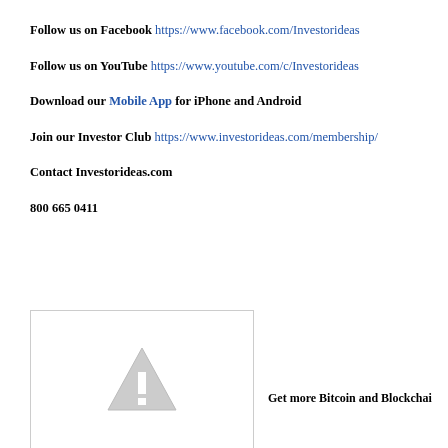Follow us on Facebook https://www.facebook.com/Investorideas
Follow us on YouTube https://www.youtube.com/c/Investorideas
Download our Mobile App for iPhone and Android
Join our Investor Club https://www.investorideas.com/membership/
Contact Investorideas.com
800 665 0411
[Figure (illustration): Broken image placeholder with triangle warning icon]
Get more Bitcoin and Blockchain